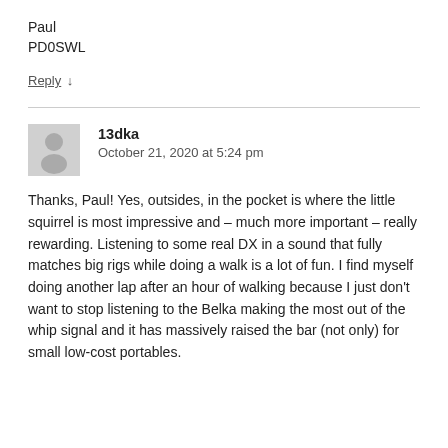Paul
PD0SWL
Reply ↓
13dka
October 21, 2020 at 5:24 pm
Thanks, Paul! Yes, outsides, in the pocket is where the little squirrel is most impressive and – much more important – really rewarding. Listening to some real DX in a sound that fully matches big rigs while doing a walk is a lot of fun. I find myself doing another lap after an hour of walking because I just don't want to stop listening to the Belka making the most out of the whip signal and it has massively raised the bar (not only) for small low-cost portables.